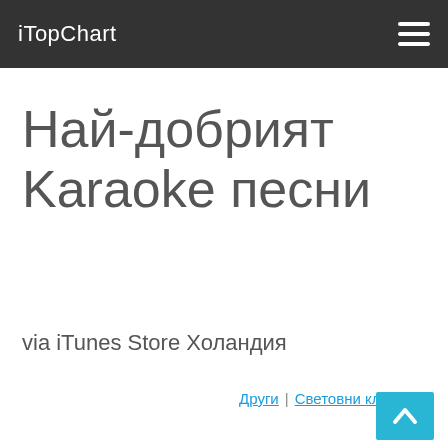iTopChart
Най-добрият Karaoke песни
via iTunes Store Холандия
Други | Световни класации
Google Custom Search  Търсене